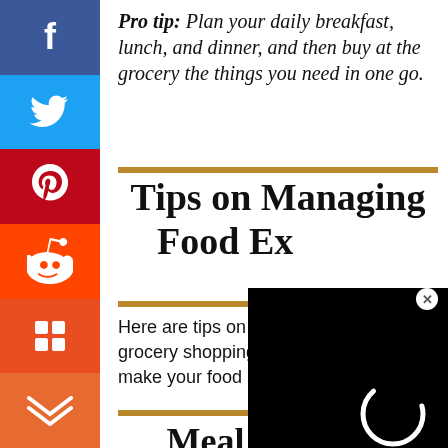Pro tip: Plan your daily breakfast, lunch, and dinner, and then buy at the grocery the things you need in one go.
Tips on Managing Food Expenses
Here are tips on meal planning and grocery shopping, which can help to make your food budgeting system work.
Meal planning
[Figure (screenshot): Social media sharing sidebar with Facebook, Twitter, Pinterest, Reddit, Flipboard, and Mix buttons]
[Figure (screenshot): Video overlay with loading spinner and CLOSE button]